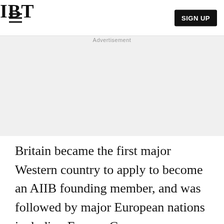IBT
[Figure (other): Advertisement placeholder area with light gray background and 'Advertisement' label text]
Britain became the first major Western country to apply to become an AIIB founding member, and was followed by major European nations including France, Germany, Luxembourg, Switzerland and Austria.